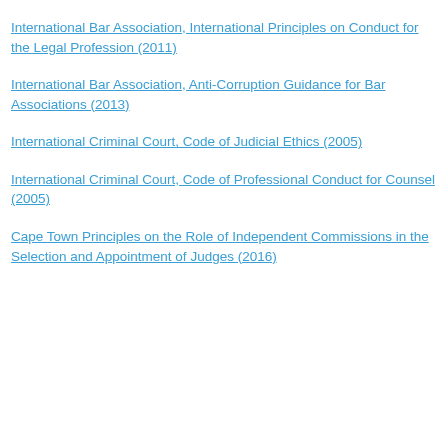International Bar Association, International Principles on Conduct for the Legal Profession (2011)
International Bar Association, Anti-Corruption Guidance for Bar Associations (2013)
International Criminal Court, Code of Judicial Ethics (2005)
International Criminal Court, Code of Professional Conduct for Counsel (2005)
Cape Town Principles on the Role of Independent Commissions in the Selection and Appointment of Judges (2016)